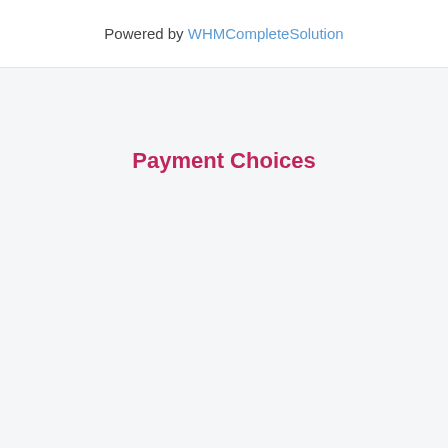Powered by WHMCompleteSolution
Payment Choices